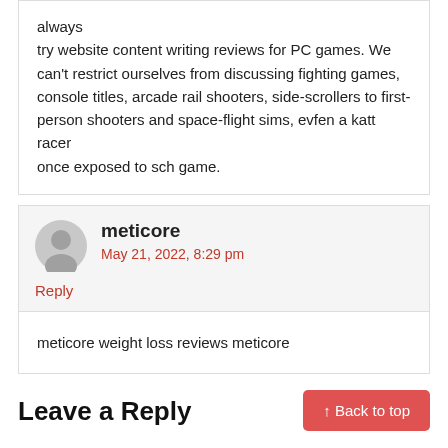always
try website content writing reviews for PC games. We can't restrict ourselves from discussing fighting games, console titles, arcade rail shooters, side-scrollers to first-person shooters and space-flight sims, evfen a katt racer
once exposed to sch game.
meticore
May 21, 2022, 8:29 pm
Reply
meticore weight loss reviews meticore
Leave a Reply
↑ Back to top